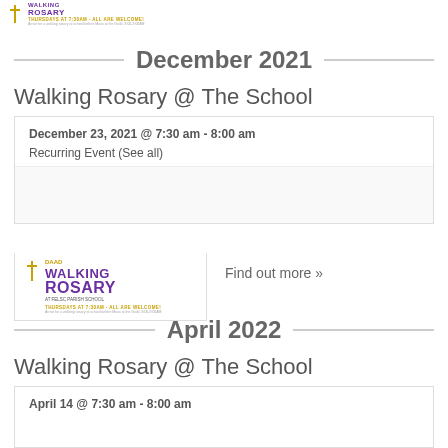[Figure (logo): Walking Rosary at the School logo - small version at top left, with cross, purple text, gold tagline]
December 2021
Walking Rosary @ The School
December 23, 2021 @ 7:30 am - 8:00 am
Recurring Event (See all)
[Figure (logo): Walking Rosary at the School logo - larger version with cross image, purple text WALKING ROSARY, gold tagline]
Find out more »
April 2022
Walking Rosary @ The School
April 14 @ 7:30 am - 8:00 am